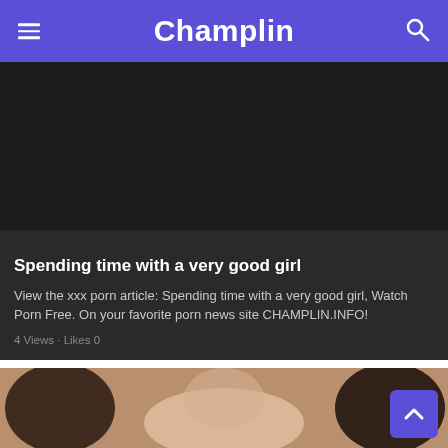Champlin
[Figure (photo): Dark/black image area serving as video thumbnail placeholder for article card]
Spending time with a very good girl
View the xxx porn article: Spending time with a very good girl, Watch Porn Free. On your favorite porn news site CHAMPLIN.INFO!
4 Views · Likes 0
[Figure (photo): Pornographic photograph showing explicit adult content]